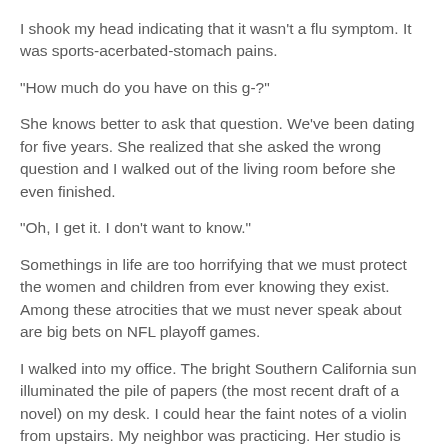I shook my head indicating that it wasn't a flu symptom. It was sports-acerbated-stomach pains.
"How much do you have on this g-?"
She knows better to ask that question. We've been dating for five years. She realized that she asked the wrong question and I walked out of the living room before she even finished.
"Oh, I get it. I don't want to know."
Somethings in life are too horrifying that we must protect the women and children from ever knowing they exist. Among these atrocities that we must never speak about are big bets on NFL playoff games.
I walked into my office. The bright Southern California sun illuminated the pile of papers (the most recent draft of a novel) on my desk. I could hear the faint notes of a violin from upstairs. My neighbor was practicing. Her studio is right above my office. Normally, those classical music sounds inspiring, yet quite better, but in that instance, the Mindlin...